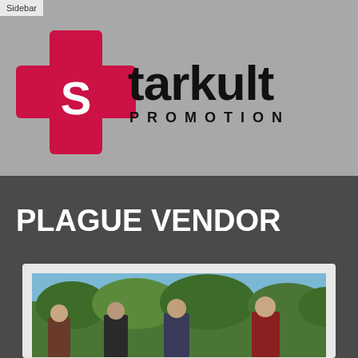Sidebar
[Figure (logo): Starkult Promotion logo with red cross symbol on left and bold black text 'starkult' with 'PROMOTION' below on gray background]
PLAGUE VENDOR
[Figure (photo): Band photo of Plague Vendor - group of people standing outdoors with trees and sky in background]